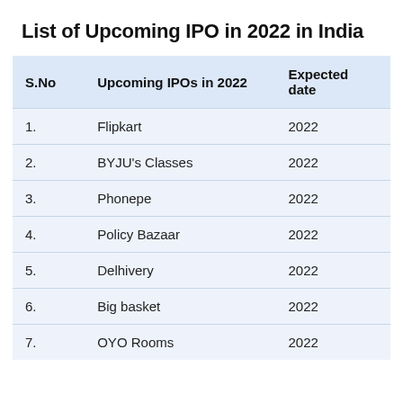List of Upcoming IPO in 2022 in India
| S.No | Upcoming IPOs in 2022 | Expected date |
| --- | --- | --- |
| 1. | Flipkart | 2022 |
| 2. | BYJU's Classes | 2022 |
| 3. | Phonepe | 2022 |
| 4. | Policy Bazaar | 2022 |
| 5. | Delhivery | 2022 |
| 6. | Big basket | 2022 |
| 7. | OYO Rooms | 2022 |